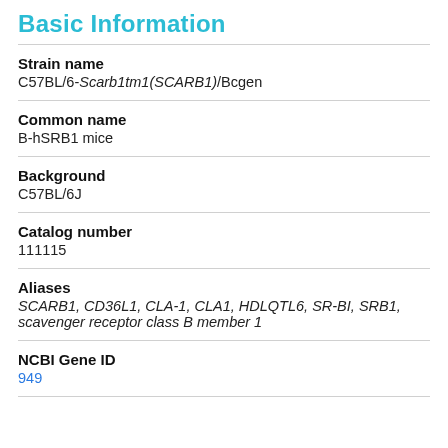Basic Information
Strain name
C57BL/6-Scarb1tm1(SCARB1)/Bcgen
Common name
B-hSRB1 mice
Background
C57BL/6J
Catalog number
111115
Aliases
SCARB1, CD36L1, CLA-1, CLA1, HDLQTL6, SR-BI, SRB1, scavenger receptor class B member 1
NCBI Gene ID
949